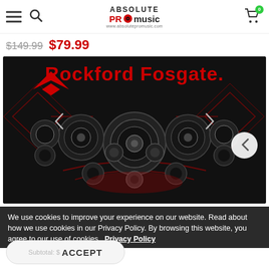ABSOLUTE PRO music — www.absolutepromusic.com — Navigation header with hamburger menu, search icon, logo, and cart (0 items)
$149.99  $79.99
[Figure (photo): Rockford Fosgate brand banner showing logo and a collection of car audio speakers and subwoofers arranged on a dark background with red geometric designs. Navigation arrow button visible on right.]
We use cookies to improve your experience on our website. Read about how we use cookies in our Privacy Policy. By browsing this website, you agree to our use of cookies.  Privacy Policy
Subtotal: $  ACCEPT